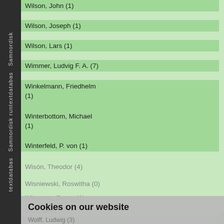Wilson, John (1)
Wilson, Joseph (1)
Wilson, Lars (1)
Wimmer, Ludvig F. A. (7)
Winkelmann, Friedhelm (1)
Winterbottom, Michael (1)
Winterfeld, P. von (1)
Wisón, Theodor (4)
Wisniewski, Roswitha (0)
Wissowa, Georg (1)
Wolf, Alois (3)
Wolff, Ludwig (3)
Woolf, Alex (1)
Woolf, Rosemary (1)
Worm, Ole (6)
Cookies on our website
We use cookies on this website, mainly to provide a secure browsing experience but also to collect statistics on how the website is used. You can find out more about the cookies we set, the information we store and how we use it on the cookies page.